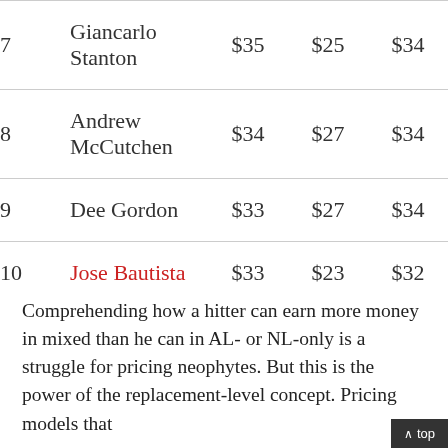| # | Name | Col1 | Col2 | Col3 |
| --- | --- | --- | --- | --- |
| 7 | Giancarlo Stanton | $35 | $25 | $34 |
| 8 | Andrew McCutchen | $34 | $27 | $34 |
| 9 | Dee Gordon | $33 | $27 | $34 |
| 10 | Jose Bautista | $33 | $23 | $32 |
Comprehending how a hitter can earn more money in mixed than he can in AL- or NL-only is a struggle for pricing neophytes. But this is the power of the replacement-level concept. Pricing models that
^ top